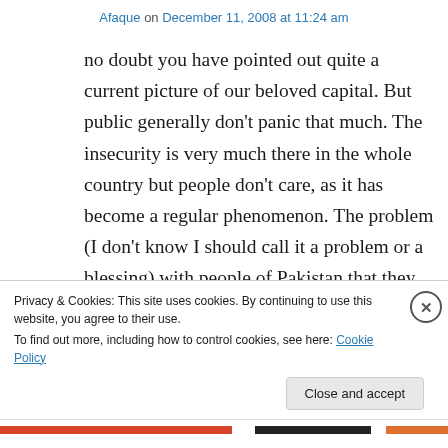Afaque on December 11, 2008 at 11:24 am
no doubt you have pointed out quite a current picture of our beloved capital. But public generally don't panic that much. The insecurity is very much there in the whole country but people don't care, as it has become a regular phenomenon. The problem (I don't know I should call it a problem or a blessing) with people of Pakistan that they accept the things the way they are. They don't want to fight back. I
Privacy & Cookies: This site uses cookies. By continuing to use this website, you agree to their use.
To find out more, including how to control cookies, see here: Cookie Policy